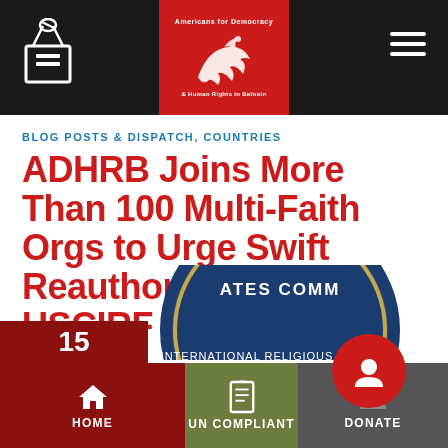[Figure (logo): Americans for Democracy & Human Rights in Bahrain logo — red box with white dove/hand emblem in center of dark header bar]
BLOG POSTS & DISPATCH, COUNTRIES
ADHRB Joins More Than 100 Multi-Faith Orgs to Urge Swift Reauthorization of USCIRF
POSTED ON SEPTEMBER 15, 2015 BY ADHRB ADMIN
[Figure (logo): United States Commission on International Religious Freedom (USCIRF) official blue circular seal, partially cropped at bottom of page]
HOME | UN COMPLIANT | DONATE